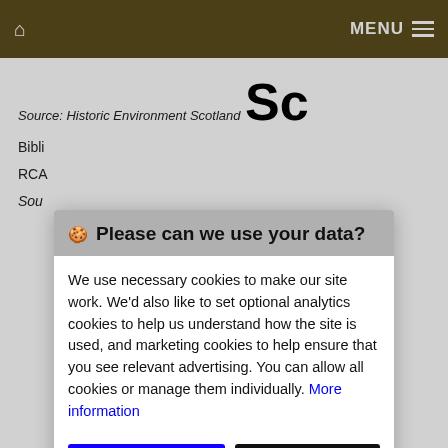MENU
Source: Historic Environment Scotland
Sc
Bibli
RCA
Sou
🍪 Please can we use your data?
We use necessary cookies to make our site work. We'd also like to set optional analytics cookies to help us understand how the site is used, and marketing cookies to help ensure that you see relevant advertising. You can allow all cookies or manage them individually. More information
Accept Cookies
Customise Cookies